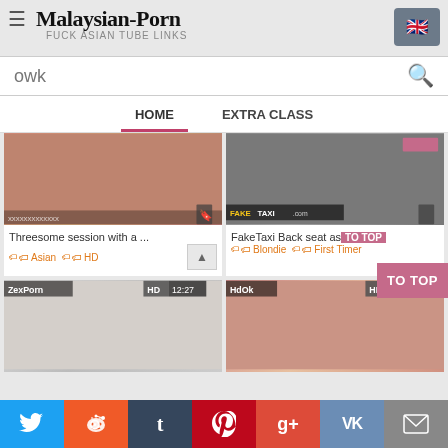Malaysian-Porn — FUCK ASIAN TUBE LINKS
owk
HOME    EXTRA CLASS
[Figure (photo): Video thumbnail showing adult content - Threesome session with a ...]
Threesome session with a ...
Asian  HD
[Figure (photo): Video thumbnail showing FakeTaxi Back seat content]
FakeTaxi Back seat as...
Blondie  First Timer
[Figure (photo): Video thumbnail ZexPorn HD 12:27]
[Figure (photo): Video thumbnail HdOk HD 12:24]